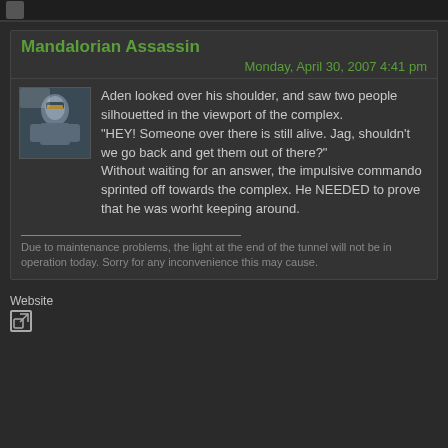Mandalorian Assassin
Monday, April 30, 2007 4:41 pm
Aden looked over his shoulder, and saw two people silhouetted in the viewport of the complex.
"HEY!  Someone over there is still alive.  Jag, shouldn't we go back and get them out of there?"
Without waiting for an answer, the impulsive commando sprinted off towards the complex. He NEEDED to prove that he was worht keeping around.
Due to maintenance problems, the light at the end of the tunnel will not be in operation today.  Sorry for any inconvenience this may cause.
Website